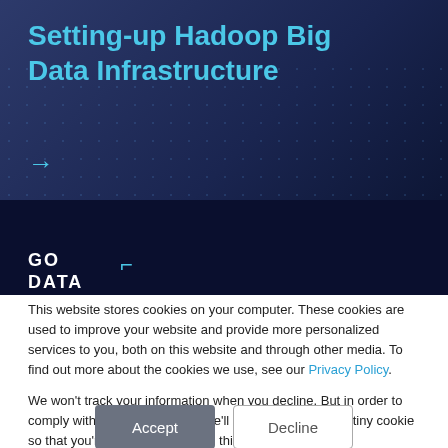Setting-up Hadoop Big Data Infrastructure
[Figure (screenshot): Dark navy blue website header background with dot grid pattern and cyan arrow]
[Figure (logo): GO DATA logo in white bold text with cyan bracket icon on dark navy background]
This website stores cookies on your computer. These cookies are used to improve your website and provide more personalized services to you, both on this website and through other media. To find out more about the cookies we use, see our Privacy Policy.
We won't track your information when you decline. But in order to comply with your preferences, we'll have to use just one tiny cookie so that you're not asked to make this choice again.